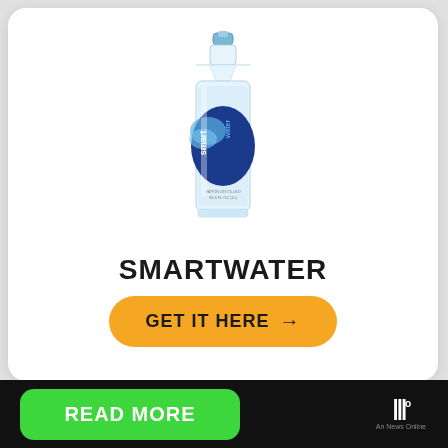[Figure (photo): A Smartwater sport cap plastic water bottle with blue label and circular smart logo design, on white background]
SMARTWATER
GET IT HERE →
READ MORE